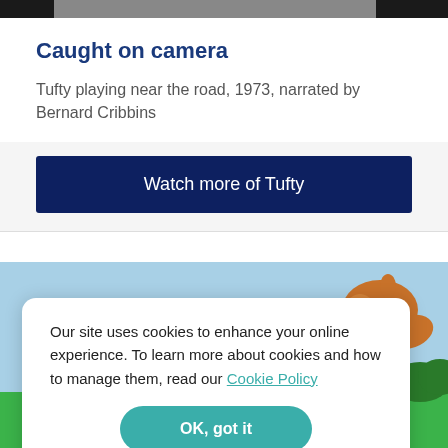[Figure (photo): Dark/partially visible top strip, likely a video thumbnail]
Caught on camera
Tufty playing near the road, 1973, narrated by Bernard Cribbins
Watch more of Tufty
[Figure (illustration): Cartoon squirrel (Tufty) illustration against a blue sky background, partially visible]
Our site uses cookies to enhance your online experience. To learn more about cookies and how to manage them, read our Cookie Policy
OK, got it